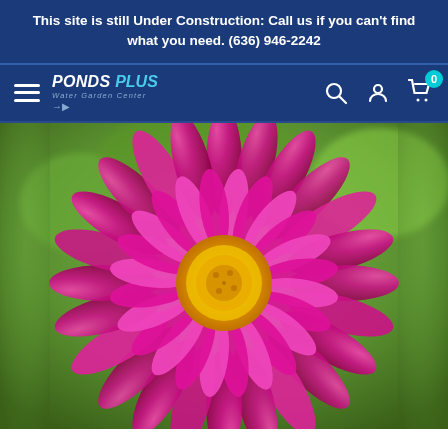This site is still Under Construction: Call us if you can't find what you need. (636) 946-2242
[Figure (logo): Ponds Plus Water Garden Center logo with hamburger menu, search, account, and cart icons on dark blue navigation bar]
[Figure (photo): Close-up photo of a pink/magenta water lily flower with yellow center, blurred green background]